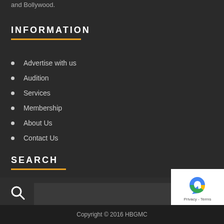and Bollywood.
INFORMATION
Advertise with us
Audition
Services
Membership
About Us
Contact Us
SEARCH
Copyright © 2016 HBGMC